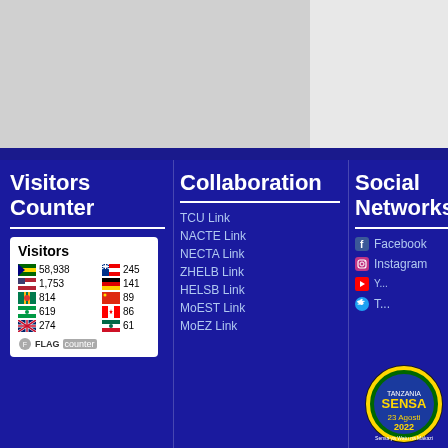[Figure (screenshot): Top section with gray/light background banner area]
Visitors Counter
[Figure (infographic): Visitors flag counter widget showing: Tanzania 58,938; USA 1,753; South Africa 814; Nigeria 619; UK 274; France 245; Germany 141; China 89; Canada 86; Mexico 61]
Collaboration
TCU Link
NACTE Link
NECTA Link
ZHELB Link
HELSB Link
MoEST Link
MoEZ Link
Social Networks
Facebook
Instagram
YouTube
Twitter
[Figure (logo): Tanzania SENSA 23 Agosti 2022 circular badge/logo]